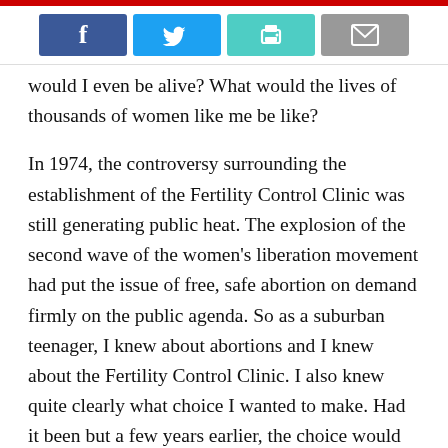[Figure (other): Social sharing buttons: Facebook (blue), Twitter (light blue), Print (teal), Email (gray)]
would I even be alive? What would the lives of thousands of women like me be like?
In 1974, the controversy surrounding the establishment of the Fertility Control Clinic was still generating public heat. The explosion of the second wave of the women's liberation movement had put the issue of free, safe abortion on demand firmly on the public agenda. So as a suburban teenager, I knew about abortions and I knew about the Fertility Control Clinic. I also knew quite clearly what choice I wanted to make. Had it been but a few years earlier, the choice would have been a backyard butcher or an unwanted